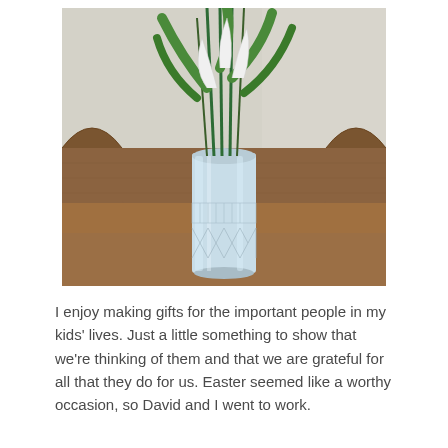[Figure (photo): A crystal glass vase containing paper flowers with white petals and green leaves, placed on a wooden bench/pew.]
I enjoy making gifts for the important people in my kids' lives. Just a little something to show that we're thinking of them and that we are grateful for all that they do for us. Easter seemed like a worthy occasion, so David and I went to work.